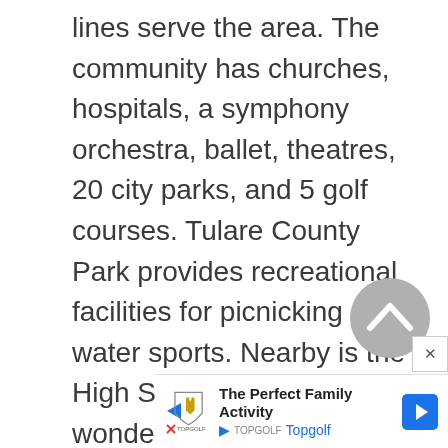lines serve the area. The community has churches, hospitals, a symphony orchestra, ballet, theatres, 20 city parks, and 5 golf courses. Tulare County Park provides recreational facilities for picnicking and water sports. Nearby is the High Sierra mountain wonderland in the Sierra National Forest.
[Figure (other): Gray circular scroll-to-top button with a chevron/caret pointing upward]
[Figure (other): Small white close button with an X, positioned at bottom right]
[Figure (other): Advertisement banner for Topgolf showing logo, 'The Perfect Family Activity' text, Topgolf name in blue, navigation arrow icon, play and close icons]